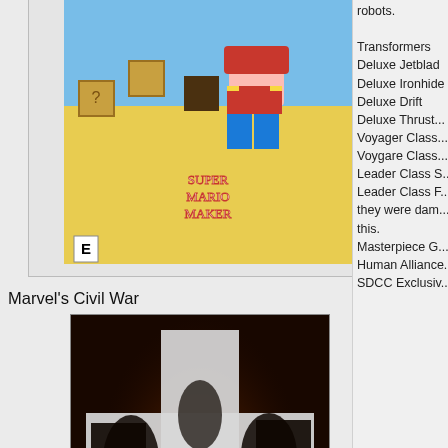[Figure (photo): Super Mario Maker game box cover image]
Marvel's Civil War
[Figure (photo): Marvel's Civil War comic book cover]
Injection Vol. 1
[Figure (photo): Injection Vol. 1 book cover]
robots.

Transformers
Deluxe Jetbla...
Deluxe Ironhide...
Deluxe Drift
Deluxe Thrust...
Voyager Class...
Voygare Class...
Leader Class S...
Leader Class F...
they were dam...
this.
Masterpiece G...
Human Alliance...
SDCC Exclusiv...
Star Wars
Hasbro has iss...
Boba Fett Voice...
AT-AT in scale...